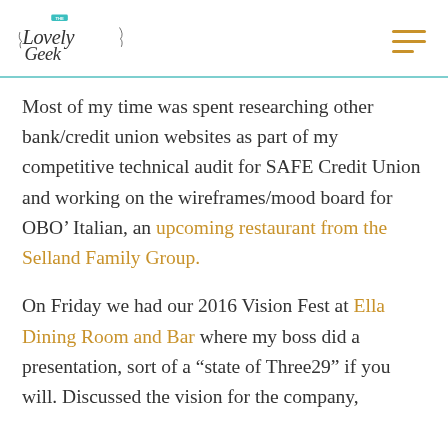The Lovely Geek [logo]
Most of my time was spent researching other bank/credit union websites as part of my competitive technical audit for SAFE Credit Union and working on the wireframes/mood board for OBO’ Italian, an upcoming restaurant from the Selland Family Group.
On Friday we had our 2016 Vision Fest at Ella Dining Room and Bar where my boss did a presentation, sort of a “state of Three29” if you will. Discussed the vision for the company,